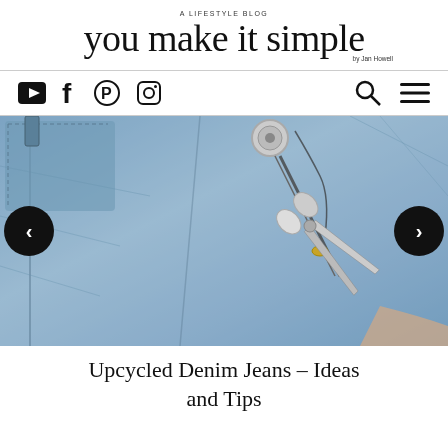A LIFESTYLE BLOG
you make it simple
by Jan Howell
[Figure (screenshot): Navigation bar with social media icons: YouTube, Facebook, Pinterest, Instagram on left; search and hamburger menu icons on right]
[Figure (photo): Close-up photo of blue denim jeans being cut with scissors, showing the waistband, button, and zipper area]
Upcycled Denim Jeans – Ideas and Tips